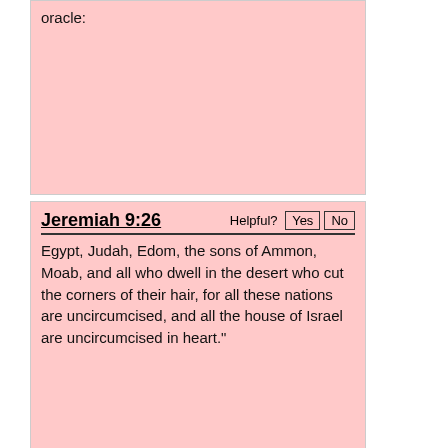oracle:
Jeremiah 9:26
Egypt, Judah, Edom, the sons of Ammon, Moab, and all who dwell in the desert who cut the corners of their hair, for all these nations are uncircumcised, and all the house of Israel are uncircumcised in heart."
Isaiah 13:1
The oracle concerning Babylon which Isaiah the son of Amoz saw.